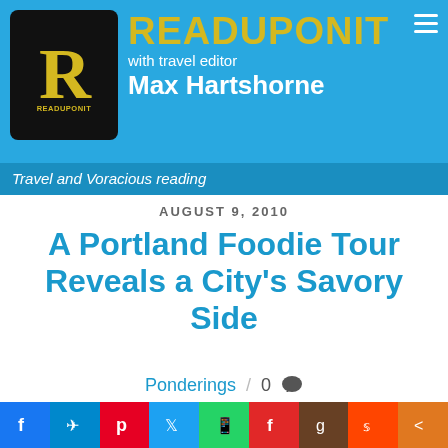[Figure (logo): READUPONIT website header with logo R in black box and site name in yellow text, subtitle 'with travel editor Max Hartshorne' on blue background]
Travel and Voracious reading
AUGUST 9, 2010
A Portland Foodie Tour Reveals a City's Savory Side
Ponderings / 0 💬
[Figure (photo): Interior photo of what appears to be a store or market with shelves]
What kinds
f  ✈  p  🐦  📱  f  g  reddit  share